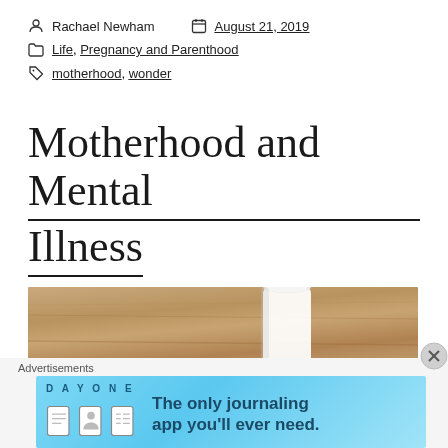Rachael Newham    August 21, 2019
Life, Pregnancy and Parenthood
motherhood, wonder
Motherhood and Mental Illness
[Figure (photo): Close-up photo of a white cup on a wooden surface (tray or table), photographed from a low angle in muted light.]
Advertisements
[Figure (infographic): DayOne app advertisement banner on a light blue background. Text: 'DAY ONE' and 'The only journaling app you'll ever need.' with cartoon icons of a journal, person, and clipboard.]